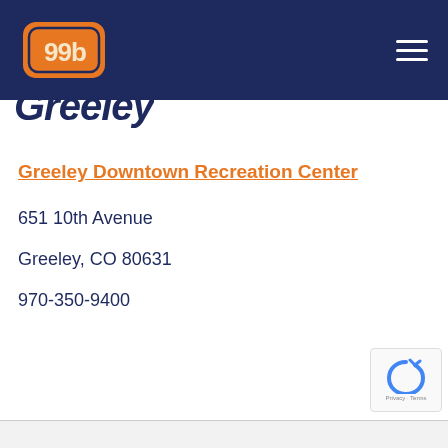99b logo and navigation
Greeley
Greeley Downtown Recreation Center
651 10th Avenue
Greeley, CO 80631
970-350-9400
Privacy · Terms